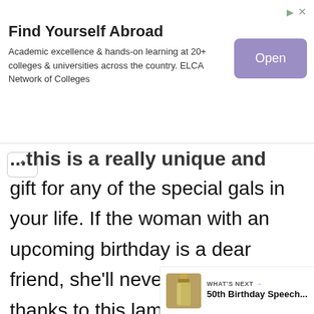Find Yourself Abroad
Academic excellence & hands-on learning at 20+ colleges & universities across the country. ELCA Network of Colleges
gift for any of the special gals in your life. If the woman with an upcoming birthday is a dear friend, she'll never forget you, thanks to this lamp combo that keeps you connected no matter how far apart you are. This is the perfect gift if you want to stand out from other gift-givers. It works through Wi-Fi networks, on US outlets, and also on with a plug adapter.